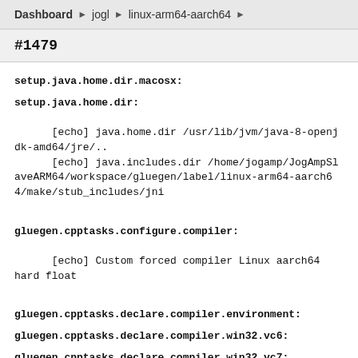Dashboard ▶ jogl ▶ linux-arm64-aarch64 ▶
#1479
setup.java.home.dir.macosx:
setup.java.home.dir:
[echo] java.home.dir /usr/lib/jvm/java-8-openjdk-amd64/jre/..
      [echo] java.includes.dir /home/jogamp/JogAmpSlaveARM64/workspace/gluegen/label/linux-arm64-aarch64/make/stub_includes/jni
gluegen.cpptasks.configure.compiler:
[echo] Custom forced compiler Linux aarch64 hard float
gluegen.cpptasks.declare.compiler.environment:
gluegen.cpptasks.declare.compiler.win32.vc6:
gluegen.cpptasks.declare.compiler.win32.vc7: